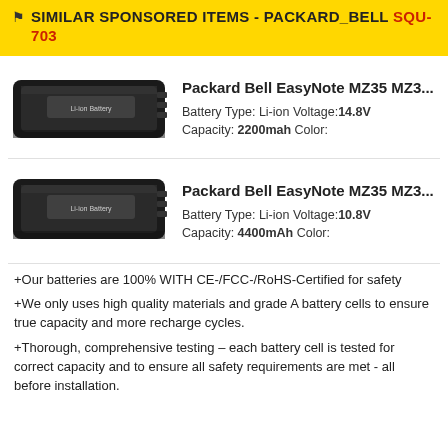SIMILAR SPONSORED ITEMS - PACKARD_BELL SQU-703
[Figure (photo): Black laptop battery pack for Packard Bell EasyNote MZ35]
Packard Bell EasyNote MZ35 MZ3...
Battery Type: Li-ion Voltage: 14.8V
Capacity: 2200mah Color:
[Figure (photo): Black laptop battery pack for Packard Bell EasyNote MZ35]
Packard Bell EasyNote MZ35 MZ3...
Battery Type: Li-ion Voltage: 10.8V
Capacity: 4400mAh Color:
+Our batteries are 100% WITH CE-/FCC-/RoHS-Certified for safety
+We only uses high quality materials and grade A battery cells to ensure true capacity and more recharge cycles.
+Thorough, comprehensive testing – each battery cell is tested for correct capacity and to ensure all safety requirements are met - all before installation.